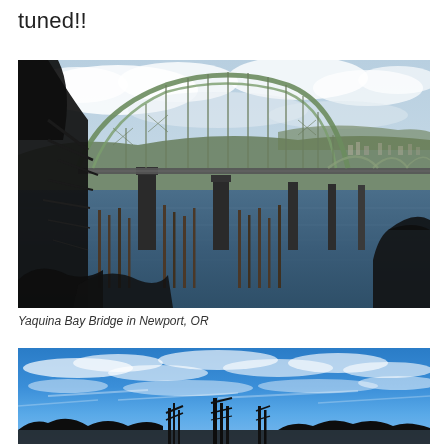tuned!!
[Figure (photo): Photo of the Yaquina Bay Bridge in Newport, OR. A green steel arch bridge spanning a bay with blue water, dark evergreen trees in the foreground, wooden pilings in the water, hills and town visible in the background under a partly cloudy sky.]
Yaquina Bay Bridge in Newport, OR
[Figure (photo): Photo taken from below looking up at a bright blue sky with wispy white clouds. Dark silhouettes of what appear to be industrial or construction structures are visible along the bottom edge of the frame.]